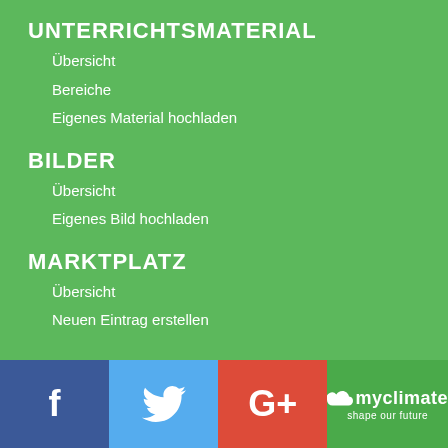UNTERRICHTSMATERIAL
Übersicht
Bereiche
Eigenes Material hochladen
BILDER
Übersicht
Eigenes Bild hochladen
MARKTPLATZ
Übersicht
Neuen Eintrag erstellen
f  [Facebook]  [Twitter]  G+  myclimate shape our future